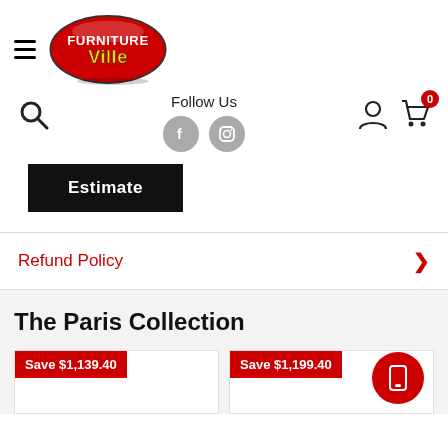[Figure (logo): Furniture Ville logo — red oval with white text FURNITURE and yellow Ville]
[Figure (infographic): Navigation bar with search icon, Follow Us text with Facebook and Instagram icons, user account icon, and cart icon with badge showing 0]
[Figure (other): Black Estimate button]
Refund Policy
The Paris Collection
Save $1,139.40
Save $1,199.40